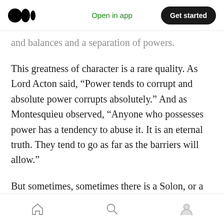Medium logo | Open in app | Get started
and balances and a separation of powers.
This greatness of character is a rare quality. As Lord Acton said, “Power tends to corrupt and absolute power corrupts absolutely.” And as Montesquieu observed, “Anyone who possesses power has a tendency to abuse it. It is an eternal truth. They tend to go as far as the barriers will allow.”
But sometimes, sometimes there is a Solon, or a Cincinnatus, or a George Washington. A leader that steps forward to fulfill their duty, to serve
Home | Search | Profile